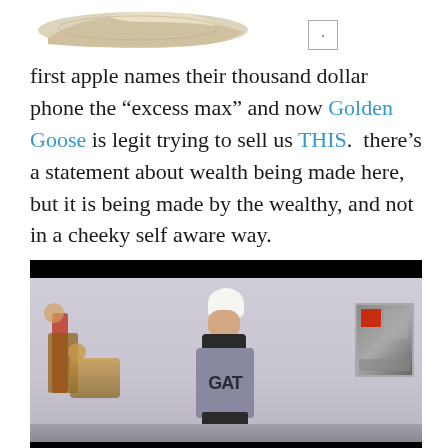[Figure (photo): Partial top view of a worn/distressed sneaker shoe (likely Golden Goose) on white background, with a small image thumbnail box to the right]
first apple names their thousand dollar phone the “excess max” and now Golden Goose is legit trying to sell us THIS.  there’s a statement about wealth being made here, but it is being made by the wealthy, and not in a cheeky self aware way.
[Figure (screenshot): Video screenshot showing a fashion show or runway event. Center figure has white hair and wears a dark turtleneck with a grey sweater/top with letters visible (GAT). Left side shows another figure in red. Right side shows artwork on wall. Black letterbox bars top and bottom.]